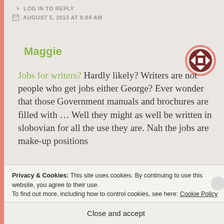LOG IN TO REPLY
AUGUST 5, 2013 AT 8:04 AM
Maggie
[Figure (logo): Avatar icon: circular pink border with a decorative white and dark brown cross/flower pattern inside]
Jobs for writers? Hardly likely? Writers are not people who get jobs either George? Ever wonder that those Government manuals and brochures are filled with ... Well they might as well be written in slobovian for all the use they are. Nah the jobs are make-up positions
Privacy & Cookies: This site uses cookies. By continuing to use this website, you agree to their use.
To find out more, including how to control cookies, see here: Cookie Policy
Close and accept